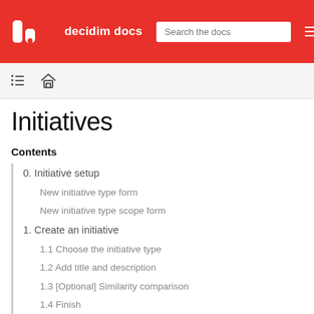decidim docs | Search the docs
Initiatives
Contents
0. Initiative setup
New initiative type form
New initiative type scope form
1. Create an initiative
1.1 Choose the initiative type
1.2 Add title and description
1.3 [Optional] Similarity comparison
1.4 Finish
Actions after it was created
2. Send initiative to technical validation
Promoter's committee